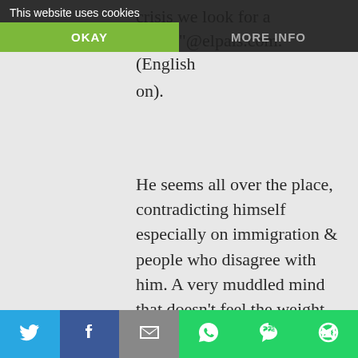[Figure (screenshot): Cookie consent banner with 'This website uses cookies' text, OKAY button in green, and MORE INFO button]
crisis we look for a savior"@elpais.com. (English translation).
He seems all over the place, contradicting himself especially on immigration & people who disagree with him. A very muddled mind that doesn't feel the weight attached to the Papacy nor the responsibility I would say. I hope he takes PB's example & steps down quickly.
Reply
[Figure (infographic): Social share bar with Twitter, Facebook, Email, WhatsApp, SMS, and More buttons]